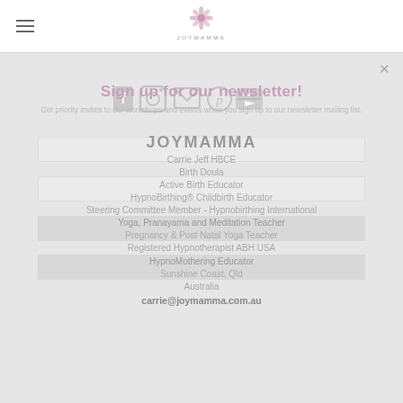[Figure (logo): JOYMAMMA logo with flower/mandala icon above text JOYMAMMA]
[Figure (infographic): Social media icons: Facebook, Instagram, Email, Pinterest, YouTube overlaid on newsletter signup heading]
Sign up for our newsletter!
Get priority invites to our workshops and events when you sign up to our newsletter mailing list.
JOYMAMMA
Carrie Jeff HBCE
Birth Doula
Active Birth Educator
HypnoBirthing® Childbirth Educator
Steering Committee Member - Hypnobirthing International
Yoga, Pranayama and Meditation Teacher
Pregnancy & Post Natal Yoga Teacher
Registered Hypnotherapist ABH USA
HypnoMothering Educator
Sunshine Coast, Qld
Australia
carrie@joymamma.com.au